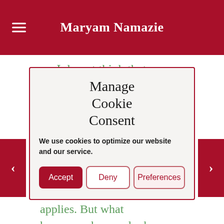Maryam Namazie
I do not think that one *has* to be socially, or
Manage Cookie Consent
We use cookies to optimize our website and our service.
Accept | Deny | Preferences
applies. But what happens when we look at subsets? The variety of atheists that we have